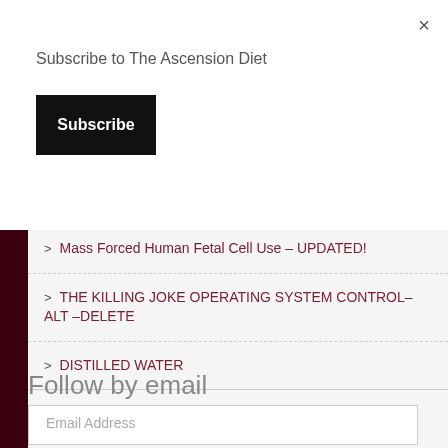×
Subscribe to The Ascension Diet
Subscribe
Mass Forced Human Fetal Cell Use – UPDATED!
THE KILLING JOKE OPERATING SYSTEM CONTROL– ALT –DELETE
DISTILLED WATER
Follow by email
Email Address